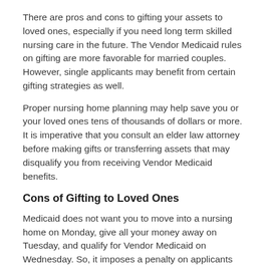There are pros and cons to gifting your assets to loved ones, especially if you need long term skilled nursing care in the future. The Vendor Medicaid rules on gifting are more favorable for married couples. However, single applicants may benefit from certain gifting strategies as well.
Proper nursing home planning may help save you or your loved ones tens of thousands of dollars or more. It is imperative that you consult an elder law attorney before making gifts or transferring assets that may disqualify you from receiving Vendor Medicaid benefits.
Cons of Gifting to Loved Ones
Medicaid does not want you to move into a nursing home on Monday, give all your money away on Tuesday, and qualify for Vendor Medicaid on Wednesday. So, it imposes a penalty on applicants who transfer money or assets without receiving fair value in return.
A person applying for Vendor Medicaid must disclose all their financial transactions during the five years preceding the date of their Medicaid application. This is frequently called the “look-back period.” The state Medicaid agency then